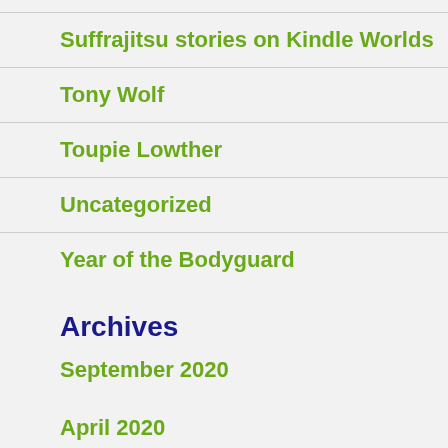Suffrajitsu stories on Kindle Worlds
Tony Wolf
Toupie Lowther
Uncategorized
Year of the Bodyguard
Archives
September 2020
April 2020